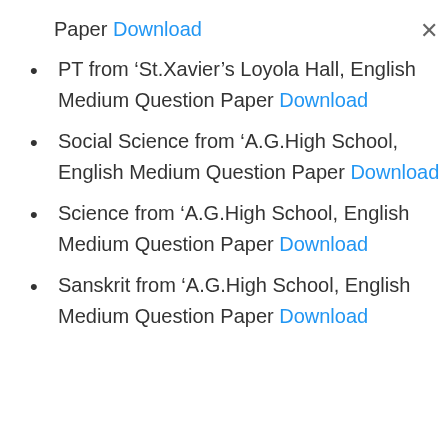Paper Download
PT from ‘St.Xavier’s Loyola Hall, English Medium Question Paper Download
Social Science from ‘A.G.High School, English Medium Question Paper Download
Science from ‘A.G.High School, English Medium Question Paper Download
Sanskrit from ‘A.G.High School, English Medium Question Paper Download